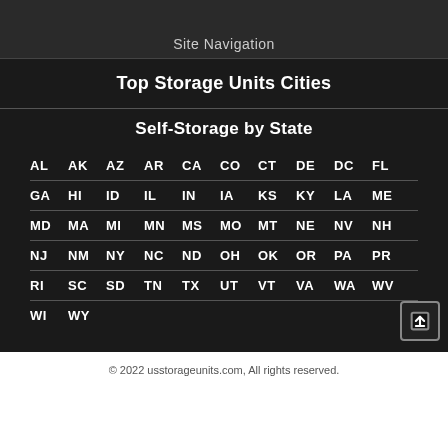Site Navigation
Top Storage Units Cities
Self-Storage by State
AL AK AZ AR CA CO CT DE DC FL
GA HI ID IL IN IA KS KY LA ME
MD MA MI MN MS MO MT NE NV NH
NJ NM NY NC ND OH OK OR PA PR
RI SC SD TN TX UT VT VA WA WV
WI WY
© 2022 usstorageunits.com, All rights reserved.